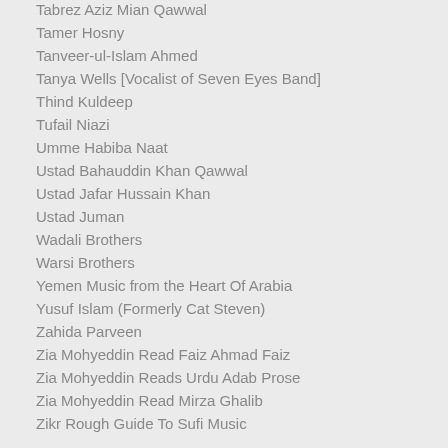Tabrez Aziz Mian Qawwal
Tamer Hosny
Tanveer-ul-Islam Ahmed
Tanya Wells [Vocalist of Seven Eyes Band]
Thind Kuldeep
Tufail Niazi
Umme Habiba Naat
Ustad Bahauddin Khan Qawwal
Ustad Jafar Hussain Khan
Ustad Juman
Wadali Brothers
Warsi Brothers
Yemen Music from the Heart Of Arabia
Yusuf Islam (Formerly Cat Steven)
Zahida Parveen
Zia Mohyeddin Read Faiz Ahmad Faiz
Zia Mohyeddin Reads Urdu Adab Prose
Zia Mohyeddin Read Mirza Ghalib
Zikr Rough Guide To Sufi Music